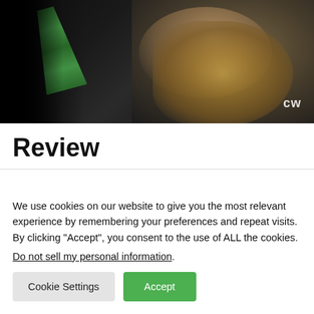[Figure (screenshot): TV show screenshot from The CW network showing a blonde woman with curly hair in a dark setting with green arrows visible. CW network logo in bottom right corner.]
Review
We use cookies on our website to give you the most relevant experience by remembering your preferences and repeat visits. By clicking “Accept”, you consent to the use of ALL the cookies.
Do not sell my personal information.
Cookie Settings  Accept